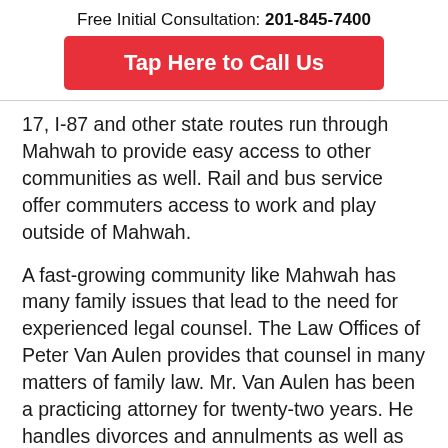Free Initial Consultation: 201-845-7400
[Figure (other): Red button: Tap Here to Call Us]
17, I-87 and other state routes run through Mahwah to provide easy access to other communities as well. Rail and bus service offer commuters access to work and play outside of Mahwah.
A fast-growing community like Mahwah has many family issues that lead to the need for experienced legal counsel. The Law Offices of Peter Van Aulen provides that counsel in many matters of family law. Mr. Van Aulen has been a practicing attorney for twenty-two years. He handles divorces and annulments as well as paternity cases and prenuptial agreements. He